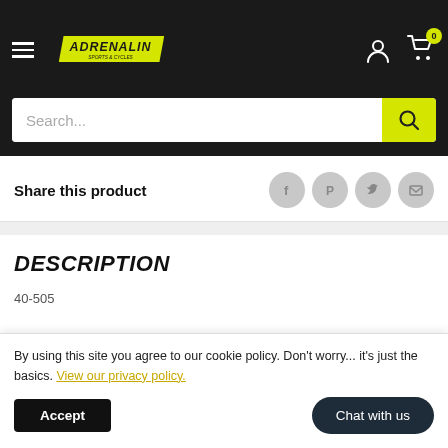[Figure (logo): Adrenalin sports & cycles logo in yellow on dark background header with hamburger menu, user icon, and cart icon with badge 0]
Search...
Share this product
DESCRIPTION
40-505
By using this site you agree to our cookie policy. Don't worry... it's just the basics. View our privacy policy.
Accept
Chat with us